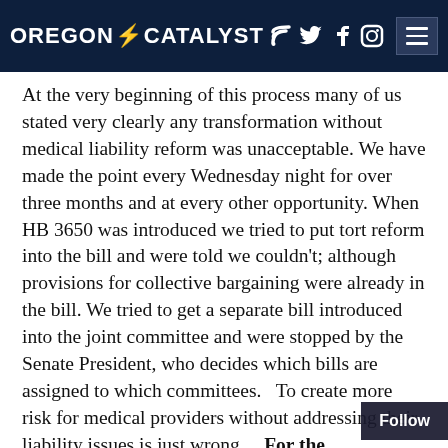OREGON CATALYST
At the very beginning of this process many of us stated very clearly any transformation without medical liability reform was unacceptable.  We have made the point every Wednesday night for over three months and at every other opportunity.  When HB 3650 was introduced we tried to put tort reform into the bill and were told we couldn't; although provisions for collective bargaining were already in the bill.  We tried to get a separate bill introduced into the joint committee and were stopped by the Senate President, who decides which bills are assigned to which committees.   To create more risk for medical providers without addressing their liability issues is just wrong.    For the Democratic Party to continue to do the bidding of the trial lawyers at the expense of the medical community is also wrong.  Yet this is the…